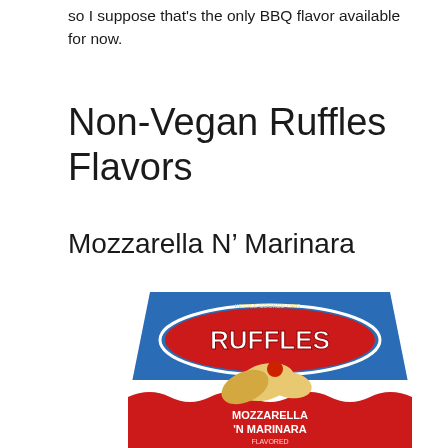so I suppose that's the only BBQ flavor available for now.
Non-Vegan Ruffles Flavors
Mozzarella N’ Marinara
[Figure (photo): A bag of Ruffles Mozzarella 'N Marinara flavored chips. The bag features a blue top half with the Ruffles logo in red and white, and a red bottom half with 'MOZZARELLA 'N MARINARA FLAVORED' text in white. Ridged chips are visible on the front of the bag.]